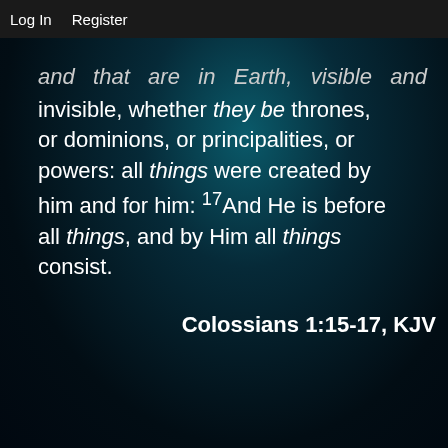Log In   Register
and that are in Earth, visible and invisible, whether they be thrones, or dominions, or principalities, or powers: all things were created by him and for him: 17And He is before all things, and by Him all things consist.
Colossians 1:15-17, KJV